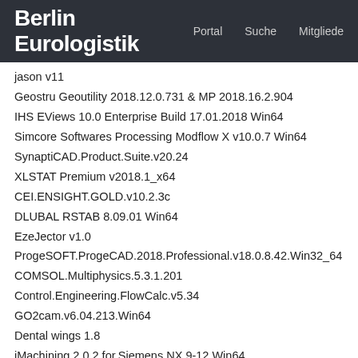Berlin Eurologistik  Portal  Suche  Mitgliede
jason v11
Geostru Geoutility 2018.12.0.731 & MP 2018.16.2.904
IHS EViews 10.0 Enterprise Build 17.01.2018 Win64
Simcore Softwares Processing Modflow X v10.0.7 Win64
SynaptiCAD.Product.Suite.v20.24
XLSTAT Premium v2018.1_x64
CEI.ENSIGHT.GOLD.v10.2.3c
DLUBAL RSTAB 8.09.01 Win64
EzeJector v1.0
ProgeSOFT.ProgeCAD.2018.Professional.v18.0.8.42.Win32_64
COMSOL.Multiphysics.5.3.1.201
Control.Engineering.FlowCalc.v5.34
GO2cam.v6.04.213.Win64
Dental wings 1.8
iMachining.2.0.2.for.Siemens.NX.9-12.Win64
Scientific Toolworks Understand 4.0.922 Win32_64
Siemens.Tecnomatix.Plant.Simulation.14.0.2
Mimics Innovation Suite 24 with 3-Matic v16